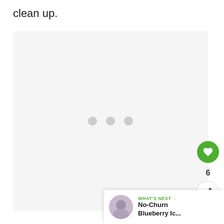clean up.
[Figure (other): Large white/light gray image placeholder with three gray loading dots in the center]
[Figure (infographic): UI overlay elements: green heart/like button, count '6', share button, and 'WHAT'S NEXT' card showing 'No-Churn Blueberry Ic...' with a circular thumbnail]